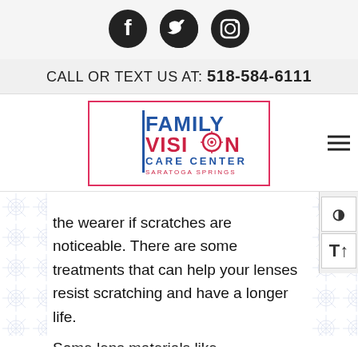[Figure (logo): Social media icons: Facebook, Twitter, Instagram (black circles)]
CALL OR TEXT US AT: 518-584-6111
[Figure (logo): Family Vision Care Center Saratoga Springs logo with red/pink border box and blue/red text]
the wearer if scratches are noticeable. There are some treatments that can help your lenses resist scratching and have a longer life.
Some lens materials like polycarbonate and trivex have built-in scratch resistance. However, it's important to know that not all scratch-resistant treatments offer equal protection. Since most lens treatments are optional, be sure to ask our staff at